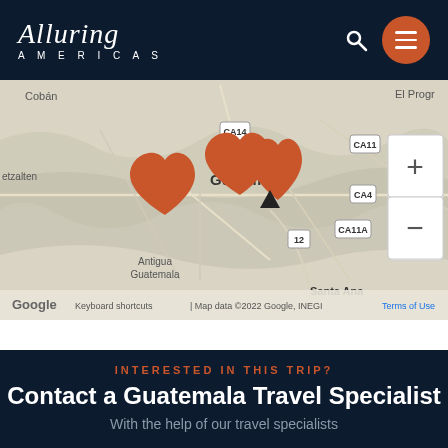Alluring Americas
[Figure (map): Google map showing Guatemala region with orange location pins near Guatemala City, Antigua Guatemala area. Map shows roads CA14, CA11, CA4, CA11A, road 12, and labels for Cobán, El Progr, etzalten, Guatemala, Antigua Guatemala, Santa Ana. Zoom controls visible on right side. Google branding and 'Map data ©2022 Google, INEGI' and 'Terms of Use' shown at bottom.]
INTERESTED IN THIS TRIP?
Contact a Guatemala Travel Specialist
With the help of our travel specialists